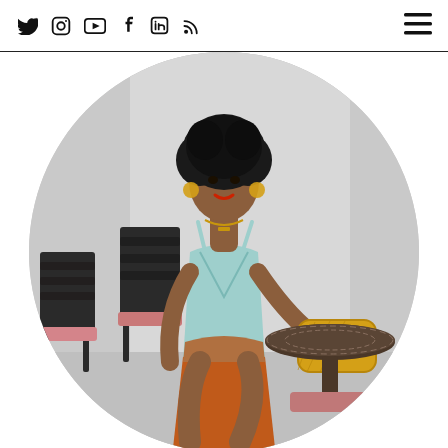Social media icons (Twitter, Instagram, YouTube, Facebook, LinkedIn, RSS) and hamburger menu
[Figure (photo): A woman with natural afro hair wearing a mint/teal spaghetti-strap top and orange/rust ombre skirt, sitting cross-legged on a pink velvet chair at a mosaic bistro table. She holds a gold metallic clutch bag. Background shows wrought-iron bistro chairs and a light grey wall. The image is displayed in an oval/egg-shaped frame on a white background.]